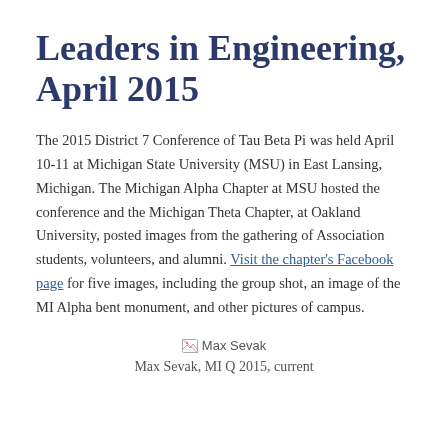Leaders in Engineering, April 2015
The 2015 District 7 Conference of Tau Beta Pi was held April 10-11 at Michigan State University (MSU) in East Lansing, Michigan. The Michigan Alpha Chapter at MSU hosted the conference and the Michigan Theta Chapter, at Oakland University, posted images from the gathering of Association students, volunteers, and alumni. Visit the chapter's Facebook page for five images, including the group shot, an image of the MI Alpha bent monument, and other pictures of campus.
[Figure (photo): Broken image placeholder labeled Max Sevak]
Max Sevak, MI Q 2015, current